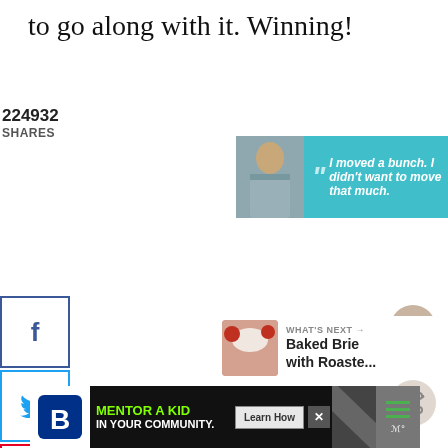to go along with it. Winning!
[Figure (screenshot): Dave Thomas Foundation for Adoption advertisement banner with quote 'I moved a bunch. I didn't want to move that much.']
224932 SHARES
[Figure (infographic): Social share buttons: Facebook, Twitter, Pinterest, Yummly, Flipboard, Mix]
[Figure (infographic): Floating action buttons: heart/like (227K) and share]
[Figure (screenshot): What's Next section showing Baked Brie with Roaste... thumbnail]
[Figure (screenshot): Big Brothers Big Sisters - MENTOR A KID IN YOUR COMMUNITY advertisement banner with Learn How button]